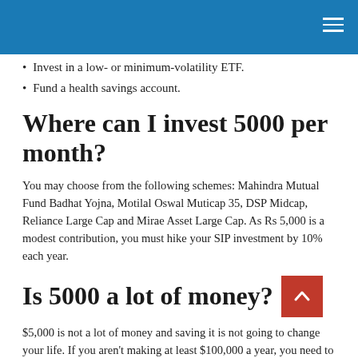Invest in a low- or minimum-volatility ETF.
Fund a health savings account.
Where can I invest 5000 per month?
You may choose from the following schemes: Mahindra Mutual Fund Badhat Yojna, Motilal Oswal Muticap 35, DSP Midcap, Reliance Large Cap and Mirae Asset Large Cap. As Rs 5,000 is a modest contribution, you must hike your SIP investment by 10% each year.
Is 5000 a lot of money?
$5,000 is not a lot of money and saving it is not going to change your life. If you aren't making at least $100,000 a year, you need to be investing in yourself.